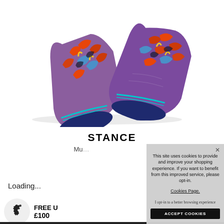[Figure (photo): Pair of colorful patterned ankle/no-show socks with purple, red/orange, blue, yellow floral pattern and navy blue toe caps with cyan stripe accent, displayed on white background]
STANCE
Mu... (product subtitle partially obscured)
Loading...
[Figure (illustration): UK map silhouette icon in a circular badge]
FREE U
£100
This site uses cookies to provide and improve your shopping experience. If you want to benefit from this improved service, please opt-in. Cookies Page.

I opt-in to a better browsing experience

ACCEPT COOKIES